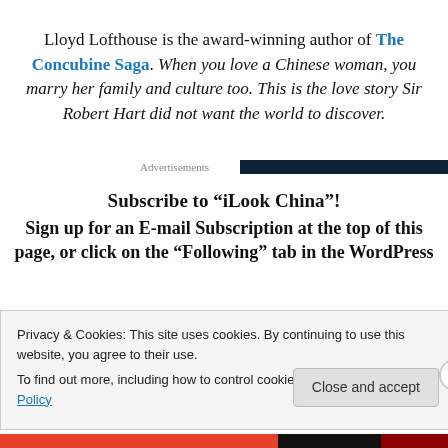Lloyd Lofthouse is the award-winning author of The Concubine Saga. When you love a Chinese woman, you marry her family and culture too. This is the love story Sir Robert Hart did not want the world to discover.
Advertisements
Subscribe to “iLook China”!
Sign up for an E-mail Subscription at the top of this page, or click on the “Following” tab in the WordPress
Privacy & Cookies: This site uses cookies. By continuing to use this website, you agree to their use.
To find out more, including how to control cookies, see here: Cookie Policy